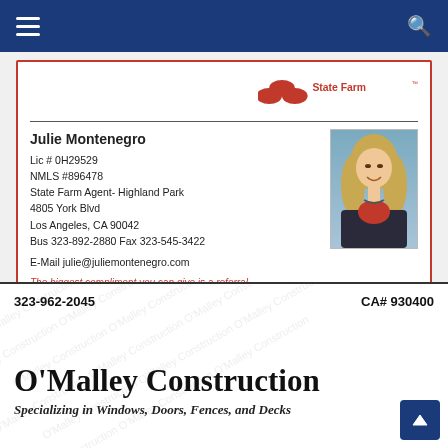Navigation bar with hamburger menu and search icon
[Figure (logo): State Farm logo with three ovals and State Farm wordmark in red]
Julie Montenegro
Lic # 0H29529
NMLS #896478
State Farm Agent- Highland Park
4805 York Blvd
Los Angeles, CA 90042
Bus 323-892-2880 Fax 323-545-3422
E-Mail julie@juliemontenegro.com
The biggest compliment you can give is a referral.
[Figure (photo): Professional headshot of Julie Montenegro, woman with blonde hair, smiling, wearing dark blazer and necklace against blue background]
323-962-2045
CA# 930400
O'Malley Construction
Specializing in Windows, Doors, Fences, and Decks